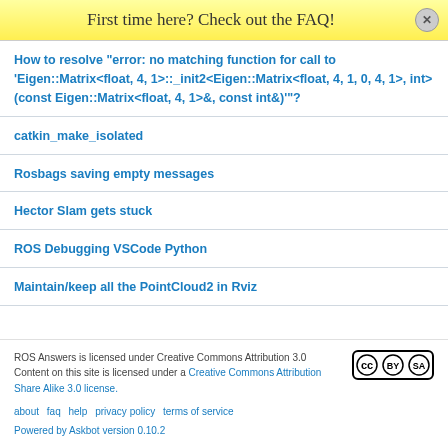First time here? Check out the FAQ!
How to resolve "error: no matching function for call to 'Eigen::Matrix<float, 4, 1>::_init2<Eigen::Matrix<float, 4, 1, 0, 4, 1>, int>(const Eigen::Matrix<float, 4, 1>&, const int&)'"?
catkin_make_isolated
Rosbags saving empty messages
Hector Slam gets stuck
ROS Debugging VSCode Python
Maintain/keep all the PointCloud2 in Rviz
ROS Answers is licensed under Creative Commons Attribution 3.0 Content on this site is licensed under a Creative Commons Attribution Share Alike 3.0 license.
about  faq  help  privacy policy  terms of service
Powered by Askbot version 0.10.2